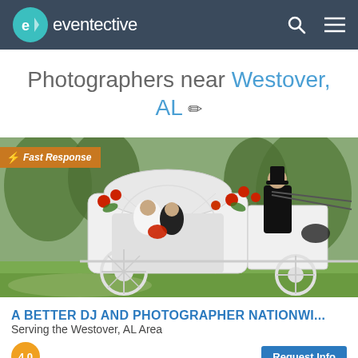eventective
Photographers near Westover, AL ✏
[Figure (photo): Wedding photo showing a bride and groom in a decorated white horse-drawn carriage with red roses and greenery. A coachman in black attire sits atop the carriage. Fast Response badge visible in upper left corner.]
A BETTER DJ AND PHOTOGRAPHER NATIONWI...
Serving the Westover, AL Area